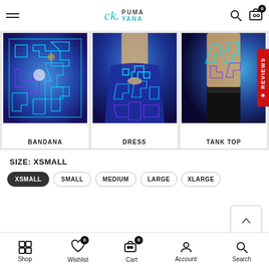PUMA YANA - navigation header with hamburger menu, logo, search and cart icons
[Figure (photo): Three product cards showing psychedelic blue maze-pattern items: BANDANA (close-up of fabric), DRESS (woman wearing blue patterned dress), TANK TOP (person wearing blue patterned tank top). Red REVIEWS tab on right side.]
BANDANA
DRESS
TANK TOP
SIZE: XSMALL
XSMALL (selected)
SMALL
MEDIUM
LARGE
XLARGE
Shop | Wishlist 0 | Cart 0 | Account | Search